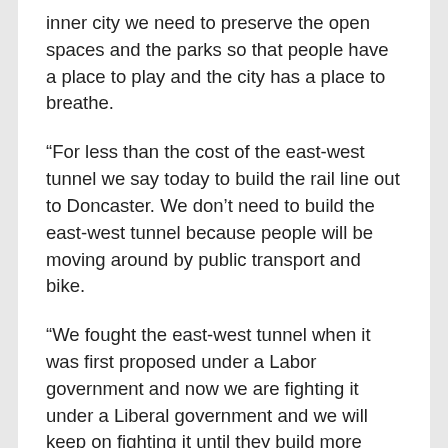inner city we need to preserve the open spaces and the parks so that people have a place to play and the city has a place to breathe.
“For less than the cost of the east-west tunnel we say today to build the rail line out to Doncaster. We don’t need to build the east-west tunnel because people will be moving around by public transport and bike.
“We fought the east-west tunnel when it was first proposed under a Labor government and now we are fighting it under a Liberal government and we will keep on fighting it until they build more trains not tollways,” he concluded.